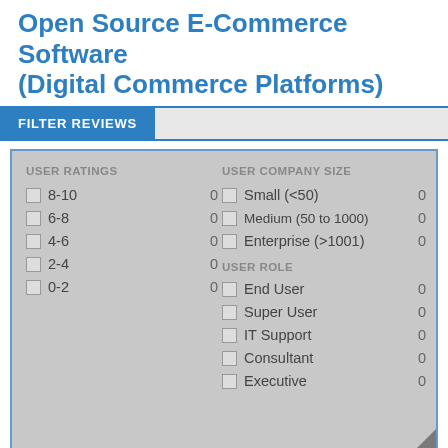Open Source E-Commerce Software (Digital Commerce Platforms)
FILTER REVIEWS
USER RATINGS
8-10  0
6-8  0
4-6  0
2-4  0
0-2  0
USER COMPANY SIZE
Small (<50)  0
Medium (50 to 1000)  0
Enterprise (>1001)  0
USER ROLE
End User  0
Super User  0
IT Support  0
Consultant  0
Executive  0